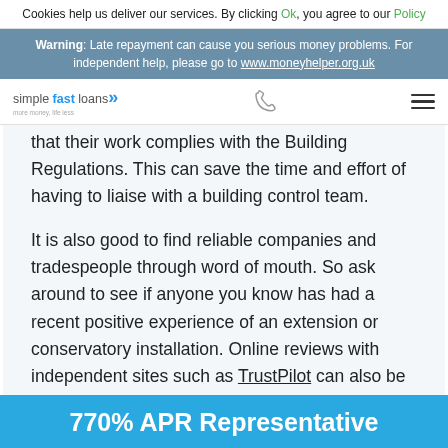Cookies help us deliver our services. By clicking Ok, you agree to our Policy
Warning: Late repayment can cause you serious money problems. For independent help, please go to www.moneyhelper.org.uk
simple fast loans
that their work complies with the Building Regulations. This can save the time and effort of having to liaise with a building control team.
It is also good to find reliable companies and tradespeople through word of mouth. So ask around to see if anyone you know has had a recent positive experience of an extension or conservatory installation. Online reviews with independent sites such as TrustPilot can also be helpful.
770% APR Representative